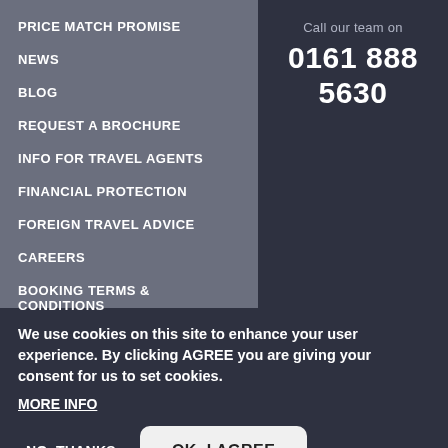PRICE MATCH PROMISE
NEWS
BLOG
REQUEST A BROCHURE
INFO FOR TRAVEL AGENTS
FINANCIAL PROTECTION
FOREIGN TRAVEL ADVICE
CAREERS
BOOKING TERMS & CONDITIONS
Call our team on
0161 888 5630
We use cookies on this site to enhance your user experience. By clicking AGREE you are giving your consent for us to set cookies. MORE INFO
NO, THANKS   OK, I AGREE